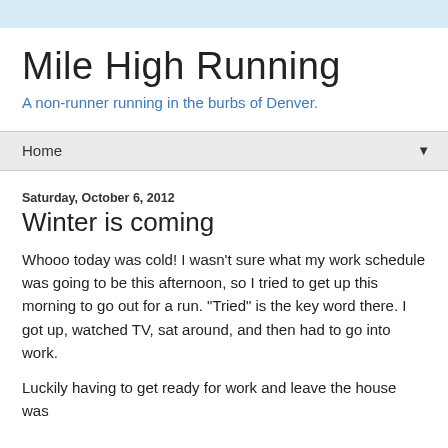Mile High Running
A non-runner running in the burbs of Denver.
Home
Saturday, October 6, 2012
Winter is coming
Whooo today was cold! I wasn't sure what my work schedule was going to be this afternoon, so I tried to get up this morning to go out for a run. "Tried" is the key word there. I got up, watched TV, sat around, and then had to go into work.
Luckily having to get ready for work and leave the house was